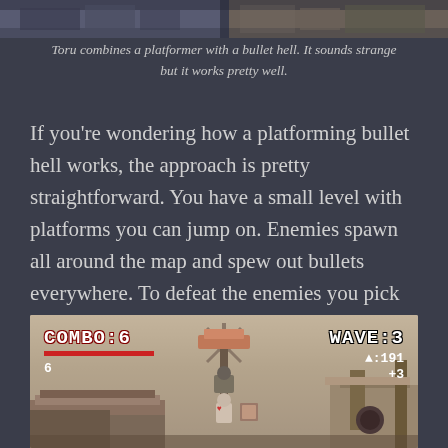[Figure (screenshot): Top portion of a game screenshot showing a platformer/bullet hell game called Toru]
Toru combines a platformer with a bullet hell. It sounds strange but it works pretty well.
If you're wondering how a platforming bullet hell works, the approach is pretty straightforward. You have a small level with platforms you can jump on. Enemies spawn all around the map and spew out bullets everywhere. To defeat the enemies you pick up boxes randomly spawned around the level and throw it at them.
[Figure (screenshot): Game screenshot of Toru showing COMBO:6 on the left, WAVE:3 with score :191 and +3 on the right, with game level visible in the background]